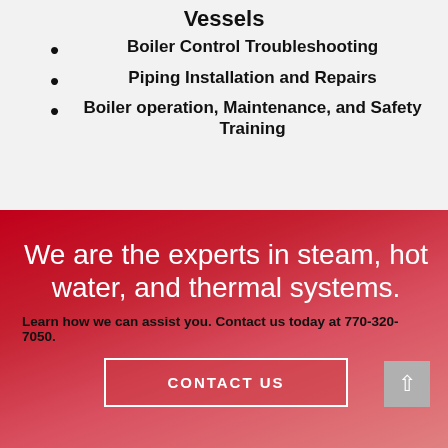Vessels
Boiler Control Troubleshooting
Piping Installation and Repairs
Boiler operation, Maintenance, and Safety Training
We are the experts in steam, hot water, and thermal systems.
Learn how we can assist you. Contact us today at 770-320-7050.
CONTACT US